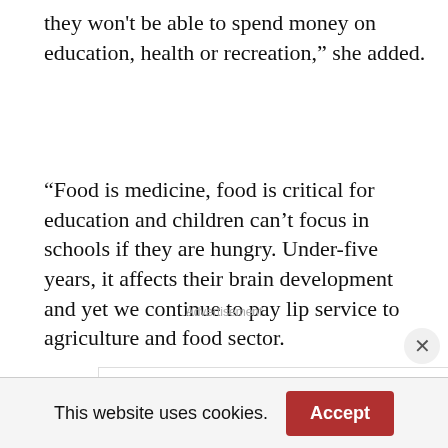they won't be able to spend money on education, health or recreation,” she added.
“Food is medicine, food is critical for education and children can’t focus in schools if they are hungry. Under-five years, it affects their brain development and yet we continue to pay lip service to agriculture and food sector.
Advertisement
[Figure (screenshot): An advertisement banner for 'Scalp Psoriasis Treateatments' with a blue bar, ad icons (play and X buttons in blue), and a close button (X in a circle) at the top right.]
This website uses cookies.
Accept